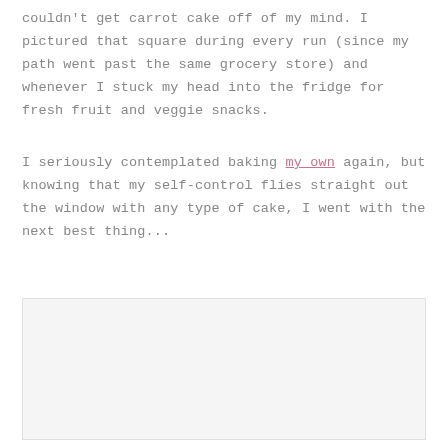couldn't get carrot cake off of my mind. I pictured that square during every run (since my path went past the same grocery store) and whenever I stuck my head into the fridge for fresh fruit and veggie snacks.
I seriously contemplated baking my own again, but knowing that my self-control flies straight out the window with any type of cake, I went with the next best thing...
[Figure (photo): A photo placeholder area shown as a light gray rectangle]